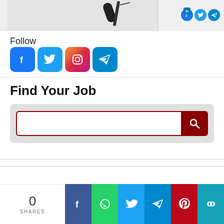[Figure (screenshot): Top portion of a webpage showing a partial image of a microphone on a gray background, with social sharing icons (Facebook, LinkedIn, Twitter, Telegram) in the top right corner]
Follow
[Figure (infographic): Row of four social media icons: Facebook (blue), Twitter (light blue), Instagram (pink/gradient), Telegram (blue)]
Find Your Job
[Figure (screenshot): Search box with dark red border and dark red search button with magnifying glass icon, on a light gray background]
[Figure (infographic): Bottom share bar showing: 0 SHARES, Facebook (dark blue), WhatsApp (green), Twitter (light blue), Telegram (blue), Pinterest (red), Copy link (teal) buttons]